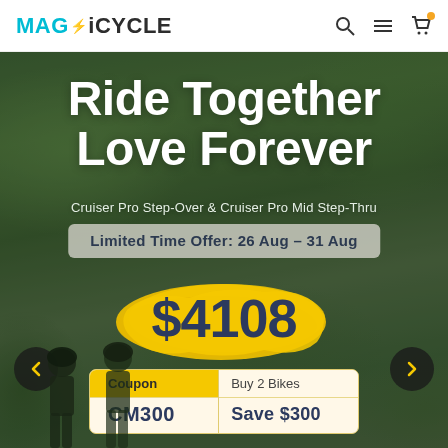MAGICYCLE
[Figure (photo): Hero banner image showing two cyclists on a forest trail with green foliage background. Overlaid promotional text for Magicycle bikes.]
Ride Together Love Forever
Cruiser Pro Step-Over & Cruiser Pro Mid Step-Thru
Limited Time Offer: 26 Aug – 31 Aug
$4108
| Coupon | Buy 2 Bikes |
| --- | --- |
| CM300 | Save $300 |